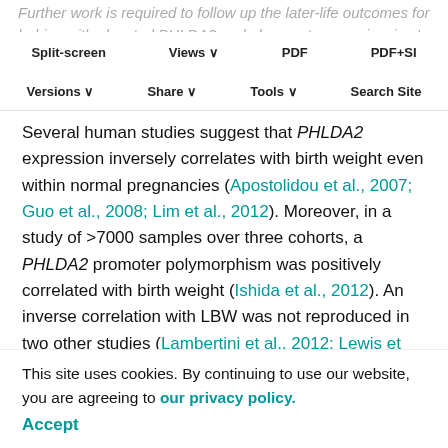Further work is required to follow up the later-life outcomes for babies with elevated PHLDA2 and also our transgenic mice to identify the predictive value of PHLDA2 as a biomarker.
Split-screen | Views | PDF | PDF+SI | Versions | Share | Tools | Search Site
Several human studies suggest that PHLDA2 expression inversely correlates with birth weight even within normal pregnancies (Apostolidou et al., 2007; Guo et al., 2008; Lim et al., 2012). Moreover, in a study of >7000 samples over three cohorts, a PHLDA2 promoter polymorphism was positively correlated with birth weight (Ishida et al., 2012). An inverse correlation with LBW was not reproduced in two other studies (Lambertini et al., 2012; Lewis et al., 2012), although these studies only looked at ~100 samples. In our previous investigation of PHLDA2 expression in placentae from the Southampton Women's Study, we did not find a significant inverse association between placental PHLDA2
This site uses cookies. By continuing to use our website, you are agreeing to our privacy policy. Accept